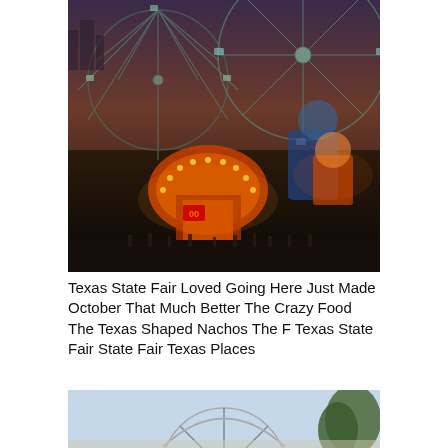[Figure (photo): Aerial night view of a state fair with a large Ferris wheel, colorful carnival lights, and crowds on a midway. City skyline visible in the background at dusk.]
Texas State Fair Loved Going Here Just Made October That Much Better The Crazy Food The Texas Shaped Nachos The F Texas State Fair State Fair Texas Places
[Figure (photo): Daytime photo of a large Ferris wheel at a state fair against a light blue sky, with trees visible on the right.]